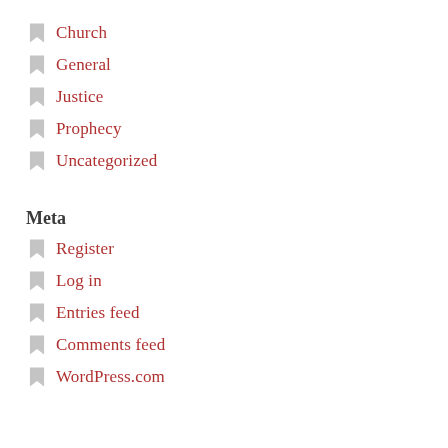Church
General
Justice
Prophecy
Uncategorized
Meta
Register
Log in
Entries feed
Comments feed
WordPress.com